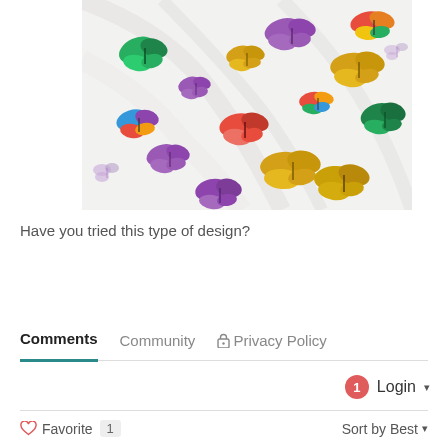[Figure (photo): White fabric with colorful butterfly print pattern — butterflies in purple, yellow/gold, red, green, rainbow/multi-color scattered across the fabric surface]
Have you tried this type of design?
Comments   Community   🔒 Privacy Policy
1  Login ▾
♡ Favorite  1   Sort by Best ▾